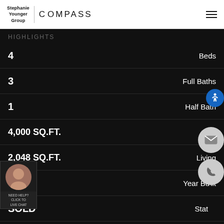Stephanie Younger Group | COMPASS
HIGHLIGHTS
| Value | Label |
| --- | --- |
| 4 | Beds |
| 3 | Full Baths |
| 1 | Half Bath |
| 4,000 SQ.FT. | Lot |
| 2,048 SQ.FT. | Living |
| 1933 | Year Built |
| SOLD | Status |
| 19-489426 | MLS® ID |